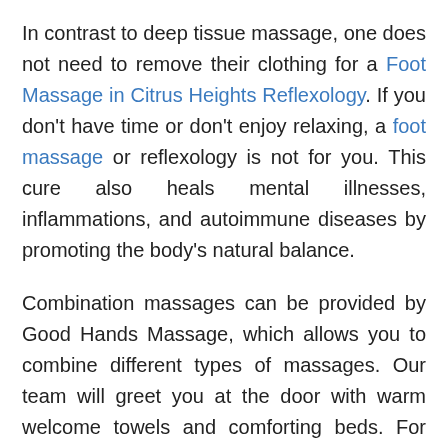In contrast to deep tissue massage, one does not need to remove their clothing for a Foot Massage in Citrus Heights Reflexology. If you don't have time or don't enjoy relaxing, a foot massage or reflexology is not for you. This cure also heals mental illnesses, inflammations, and autoimmune diseases by promoting the body's natural balance.
Combination massages can be provided by Good Hands Massage, which allows you to combine different types of massages. Our team will greet you at the door with warm welcome towels and comforting beds. For your comfort, bathrobes are provided. Auburn Boulevard, in Citrus Heights, is where Good Hands Massage appointments can be scheduled.
Related Posts